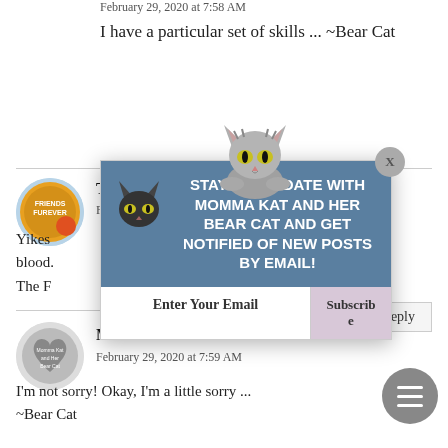February 29, 2020 at 7:58 AM
I have a particular set of skills ... ~Bear Cat
The Florida Furkids
February 28, 2020 at 8:1
Yikes... ee all that blood.
The F
[Figure (infographic): Popup subscription box with cat illustrations, text reading STAY UP-TO-DATE WITH MOMMA KAT AND HER BEAR CAT AND GET NOTIFIED OF NEW POSTS BY EMAIL!, an email input field, and a Subscribe button]
Momma Kat and Her Bear Cat
February 29, 2020 at 7:59 AM
I'm not sorry! Okay, I'm a little sorry ... ~Bear Cat